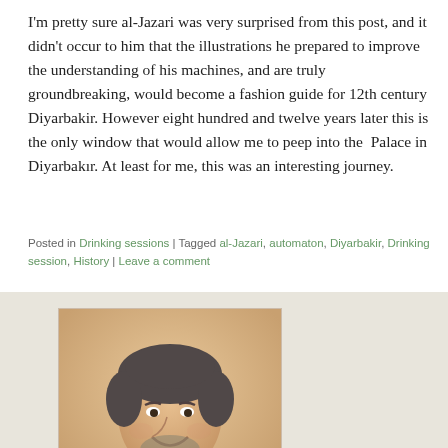I'm pretty sure al-Jazari was very surprised from this post, and it didn't occur to him that the illustrations he prepared to improve the understanding of his machines, and are truly groundbreaking, would become a fashion guide for 12th century Diyarbakir. However eight hundred and twelve years later this is the only window that would allow me to peep into the  Palace in Diyarbakır. At least for me, this was an interesting journey.
Posted in Drinking sessions | Tagged al-Jazari, automaton, Diyarbakir, Drinking session, History | Leave a comment
[Figure (photo): Photo of Avi Golan, a middle-aged man with dark graying hair, smiling, wearing a tan/gold jacket and tie]
אבי גולן
Avi Golan